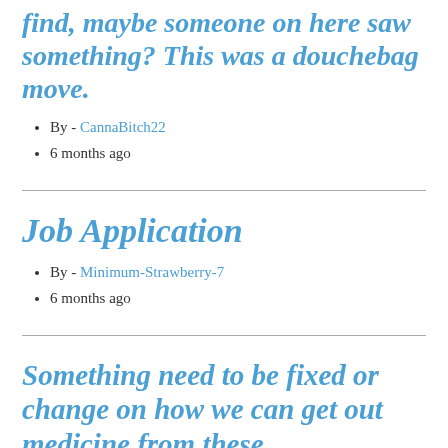find, maybe someone on here saw something? This was a douchebag move.
By - CannaBitch22
6 months ago
Job Application
By - Minimum-Strawberry-7
6 months ago
Something need to be fixed or change on how we can get out medicine from these dispensaries? UTTERLY RIDICULOUS we having to stand & wait more than an